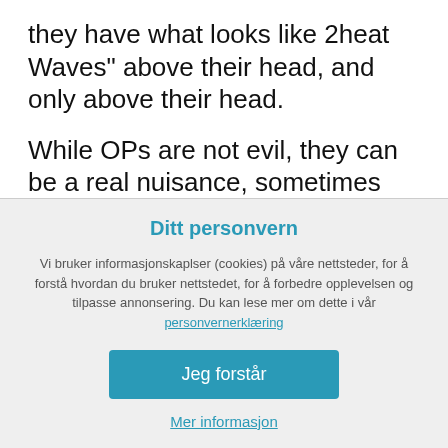they have what looks like 2heat Waves" above their head, and only above their head.
While OPs are not evil, they can be a real nuisance, sometimes escalating to being a real pain, as they are very self-centered and STS (service to self) in their orientation to life, job, marriage, etc. For them, everything is about getting what they want, survival, power and ego – they have no compassion, no conscience, no
Ditt personvern
Vi bruker informasjonskaplser (cookies) på våre nettsteder, for å forstå hvordan du bruker nettstedet, for å forbedre opplevelsen og tilpasse annonsering. Du kan lese mer om dette i vår personvernerklæring
Jeg forstår
Mer informasjon